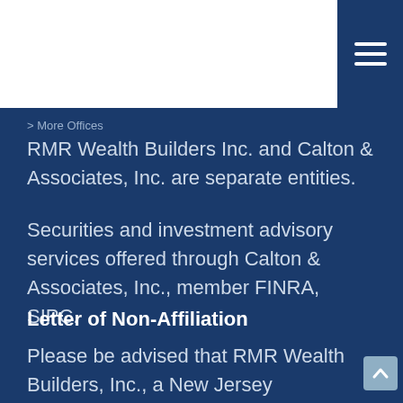> More Offices
RMR Wealth Builders Inc. and Calton & Associates, Inc. are separate entities.
Securities and investment advisory services offered through Calton & Associates, Inc., member FINRA, SIPC.
Letter of Non-Affiliation
Please be advised that RMR Wealth Builders, Inc., a New Jersey corporation formed in 1986, is not in any manner associated with RMR Wealth Management, LLC.